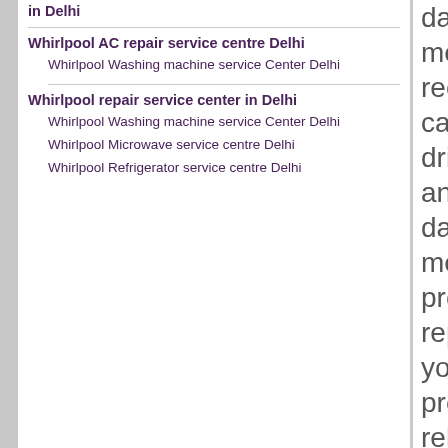in Delhi
Whirlpool AC repair service centre Delhi
Whirlpool Washing machine service Center Delhi
Whirlpool repair service center in Delhi
Whirlpool Washing machine service Center Delhi
Whirlpool Microwave service centre Delhi
Whirlpool Refrigerator service centre Delhi
data storage media.We can also recover memory cards,Flash drives,pen drives and several other data storage media.We also provide hard disk repair services .If you are looking for professional and reliable Western digital Data recovery service center,then Western